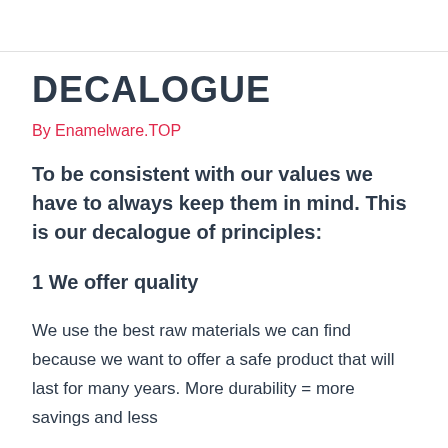DECALOGUE
By Enamelware.TOP
To be consistent with our values we have to always keep them in mind. This is our decalogue of principles:
1 We offer quality
We use the best raw materials we can find because we want to offer a safe product that will last for many years. More durability = more savings and less